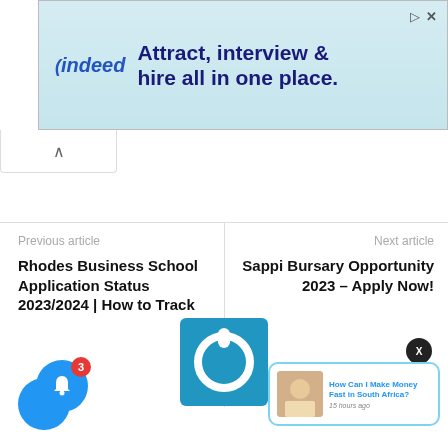[Figure (screenshot): Indeed advertisement banner: 'Attract, interview & hire all in one place.']
Previous article
Rhodes Business School Application Status 2023/2024 | How to Track
Next article
Sappi Bursary Opportunity 2023 – Apply Now!
[Figure (logo): Blue square logo with white power button icon]
[Figure (screenshot): Notification popup: 'How Can I Make Money Fast in South Africa?' 15 hours ago]